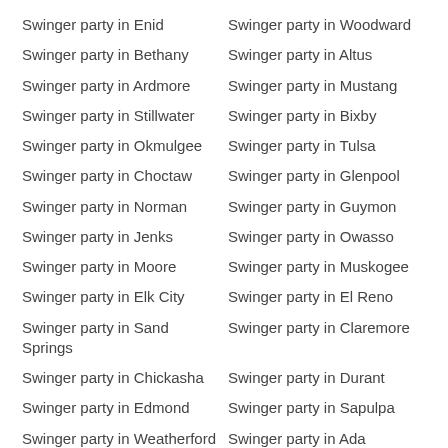Swinger party in Enid
Swinger party in Woodward
Swinger party in Bethany
Swinger party in Altus
Swinger party in Ardmore
Swinger party in Mustang
Swinger party in Stillwater
Swinger party in Bixby
Swinger party in Okmulgee
Swinger party in Tulsa
Swinger party in Choctaw
Swinger party in Glenpool
Swinger party in Norman
Swinger party in Guymon
Swinger party in Jenks
Swinger party in Owasso
Swinger party in Moore
Swinger party in Muskogee
Swinger party in Elk City
Swinger party in El Reno
Swinger party in Sand Springs
Swinger party in Claremore
Swinger party in Chickasha
Swinger party in Durant
Swinger party in Edmond
Swinger party in Sapulpa
Swinger party in Weatherford
Swinger party in Ada